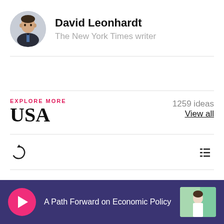[Figure (photo): Circular avatar photo of David Leonhardt, a man in a suit]
David Leonhardt
The New York Times writer
EXPLORE MORE
USA
1259 ideas
View all
A Path Forward on Economic Policy
[Figure (photo): Thumbnail image of a woman speaking, video content preview]